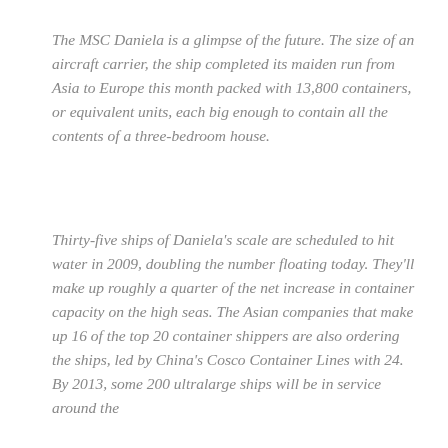The MSC Daniela is a glimpse of the future. The size of an aircraft carrier, the ship completed its maiden run from Asia to Europe this month packed with 13,800 containers, or equivalent units, each big enough to contain all the contents of a three-bedroom house.
Thirty-five ships of Daniela's scale are scheduled to hit water in 2009, doubling the number floating today. They'll make up roughly a quarter of the net increase in container capacity on the high seas. The Asian companies that make up 16 of the top 20 container shippers are also ordering the ships, led by China's Cosco Container Lines with 24. By 2013, some 200 ultralarge ships will be in service around the